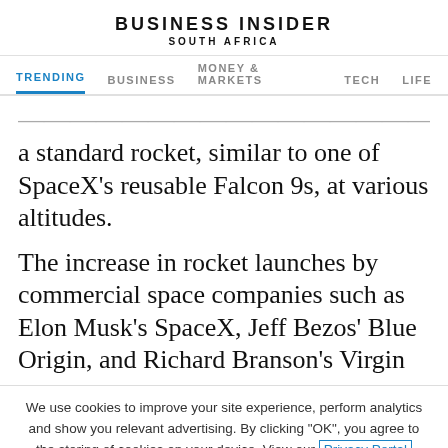BUSINESS INSIDER
SOUTH AFRICA
TRENDING  BUSINESS  MONEY & MARKETS  TECH  LIFE
a standard rocket, similar to one of SpaceX's reusable Falcon 9s, at various altitudes.
The increase in rocket launches by commercial space companies such as Elon Musk's SpaceX, Jeff Bezos' Blue Origin, and Richard Branson's Virgin
We use cookies to improve your site experience, perform analytics and show you relevant advertising. By clicking "OK", you agree to the storing of cookies on your device. View our Privacy Portal Cookie Policy & Cookie FAQs
OK